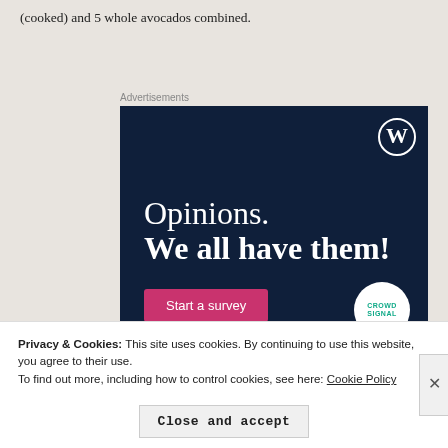(cooked) and 5 whole avocados combined.
Advertisements
[Figure (screenshot): WordPress advertisement banner with dark navy background. Shows WordPress logo (W in circle) top right. Text reads 'Opinions. We all have them!' with a pink 'Start a survey' button and CrowdSignal logo in bottom right.]
Privacy & Cookies: This site uses cookies. By continuing to use this website, you agree to their use.
To find out more, including how to control cookies, see here: Cookie Policy
Close and accept